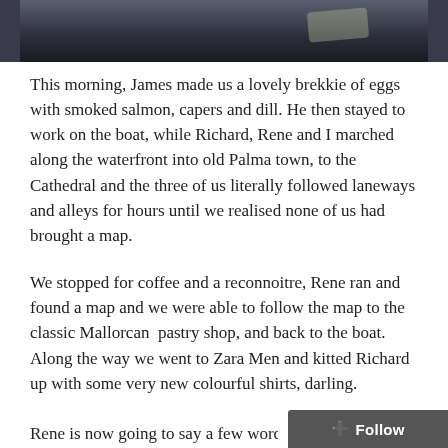[Figure (photo): Partial photo at top of page showing a dark surface, cropped at bottom edge]
This morning, James made us a lovely brekkie of eggs with smoked salmon, capers and dill. He then stayed to work on the boat, while Richard, Rene and I marched along the waterfront into old Palma town, to the Cathedral and the three of us literally followed laneways and alleys for hours until we realised none of us had brought a map.
We stopped for coffee and a reconnoitre, Rene ran and found a map and we were able to follow the map to the classic Mallorcan  pastry shop, and back to the boat.  Along the way we went to Zara Men and kitted Richard up with some very new colourful shirts, darling.
Rene is now going to say a few words, this tak